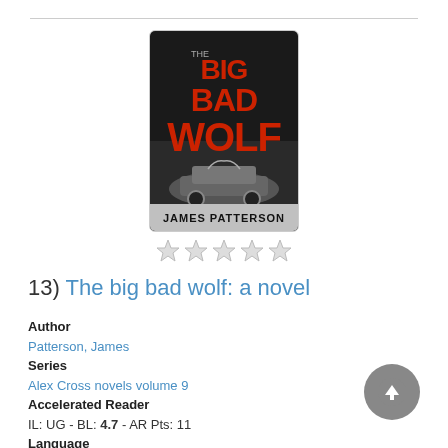[Figure (illustration): Book cover of 'The Big Bad Wolf' by James Patterson — large red text BIG BAD WOLF on dark background with a car image below, author name at bottom]
[Figure (other): Five empty star rating icons]
13)  The big bad wolf: a novel
Author
Patterson, James
Series
Alex Cross novels volume 9
Accelerated Reader
IL: UG - BL: 4.7 - AR Pts: 11
Language
English
Formats
Book, Book on CD, eAudiobook, eBook, Kindle, Large Print
Description